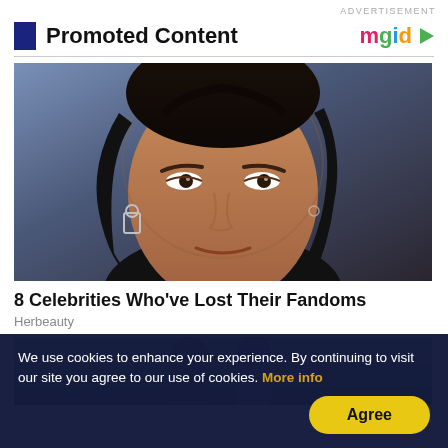ADVERTISEMENT
Promoted Content
[Figure (logo): mgid logo with colorful letters and play button icon]
[Figure (photo): Close-up photo of a male celebrity with dark hair, earrings, wearing black attire against a blue-gray background]
8 Celebrities Who've Lost Their Fandoms
Herbeauty
[Figure (photo): Partial photo of people, cropped at bottom of page]
We use cookies to enhance your experience. By continuing to visit our site you agree to our use of cookies. More info